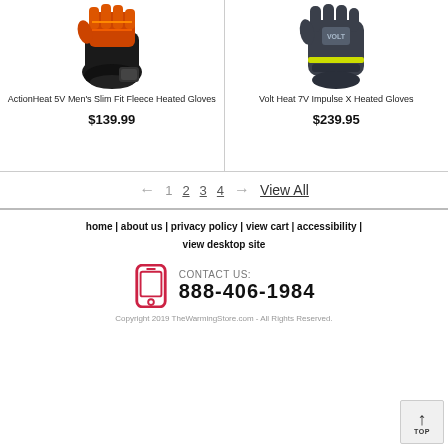[Figure (photo): ActionHeat 5V Men's Slim Fit Fleece Heated Gloves product image - black gloves with orange heating elements]
ActionHeat 5V Men's Slim Fit Fleece Heated Gloves
$139.99
[Figure (photo): Volt Heat 7V Impulse X Heated Gloves product image - dark grey ski gloves with yellow accent]
Volt Heat 7V Impulse X Heated Gloves
$239.95
← 1 2 3 4 → View All
home | about us | privacy policy | view cart | accessibility | view desktop site
CONTACT US: 888-406-1984
Copyright 2019 TheWarmingStore.com - All Rights Reserved.